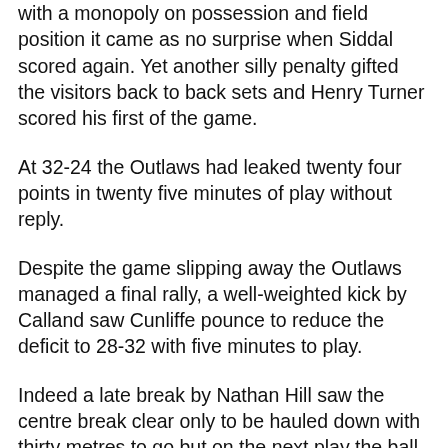with a monopoly on possession and field position it came as no surprise when Siddal scored again. Yet another silly penalty gifted the visitors back to back sets and Henry Turner scored his first of the game.
At 32-24 the Outlaws had leaked twenty four points in twenty five minutes of play without reply.
Despite the game slipping away the Outlaws managed a final rally, a well-weighted kick by Calland saw Cunliffe pounce to reduce the deficit to 28-32 with five minutes to play.
Indeed a late break by Nathan Hill saw the centre break clear only to be hauled down with thirty metres to go but on the next play the ball was spilled and with it went the chance for victory as the referee drew proceedings to a close.